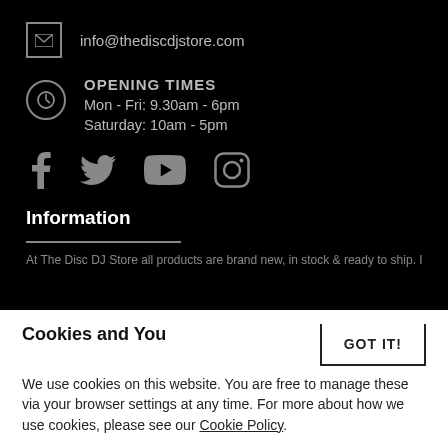info@thediscdjstore.com
OPENING TIMES
Mon - Fri: 9.30am - 6pm
Saturday: 10am - 5pm
[Figure (other): Social media icons: Facebook, Twitter, YouTube, Instagram]
Information
At The Disc DJ Store all products are brand new, in stock & ready to ship. In the
Cookies and You
We use cookies on this website. You are free to manage these via your browser settings at any time. For more about how we use cookies, please see our Cookie Policy.